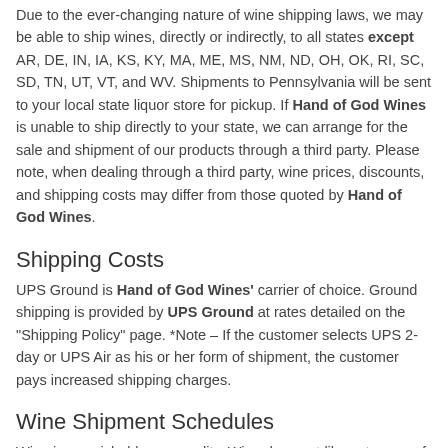Due to the ever-changing nature of wine shipping laws, we may be able to ship wines, directly or indirectly, to all states except AR, DE, IN, IA, KS, KY, MA, ME, MS, NM, ND, OH, OK, RI, SC, SD, TN, UT, VT, and WV. Shipments to Pennsylvania will be sent to your local state liquor store for pickup. If Hand of God Wines is unable to ship directly to your state, we can arrange for the sale and shipment of our products through a third party. Please note, when dealing through a third party, wine prices, discounts, and shipping costs may differ from those quoted by Hand of God Wines.
Shipping Costs
UPS Ground is Hand of God Wines' carrier of choice. Ground shipping is provided by UPS Ground at rates detailed on the "Shipping Policy" page. *Note – If the customer selects UPS 2-day or UPS Air as his or her form of shipment, the customer pays increased shipping charges.
Wine Shipment Schedules
Wine is a perishable commodity. Wine does not like extremes of